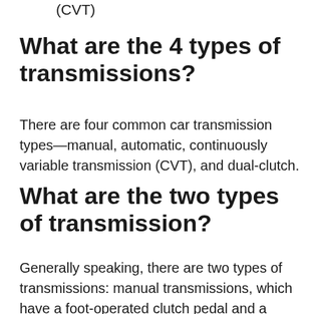(CVT)
What are the 4 types of transmissions?
There are four common car transmission types—manual, automatic, continuously variable transmission (CVT), and dual-clutch.
What are the two types of transmission?
Generally speaking, there are two types of transmissions: manual transmissions, which have a foot-operated clutch pedal and a shifter that allows the driver to manually change gears; and automatics, which can do